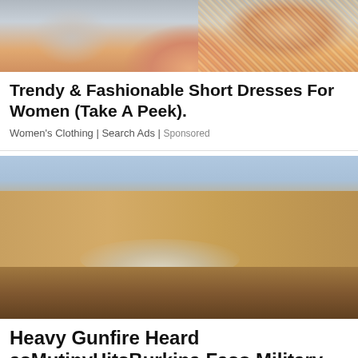[Figure (photo): Partial photo of a person wearing a sparkly/sequined outfit, showing face and clothing from above]
Trendy & Fashionable Short Dresses For Women (Take A Peek).
Women's Clothing | Search Ads | Sponsored
[Figure (photo): Street scene with a large sand-colored government or military building, smoke or tear gas on the road, people running]
Heavy Gunfire Heard asMutinyHitsBurkina Faso Military Base